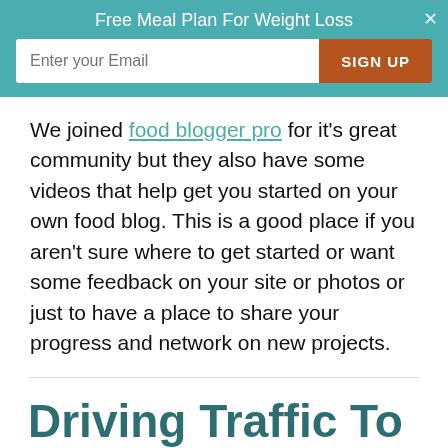[Figure (other): Teal banner with email signup form. Title: 'Free Meal Plan For Weight Loss'. Input field 'Enter your Email', brown 'SIGN UP' button, and an X close button.]
We joined food blogger pro for it's great community but they also have some videos that help get you started on your own food blog. This is a good place if you aren't sure where to get started or want some feedback on your site or photos or just to have a place to share your progress and network on new projects.
Driving Traffic To Your Food Bl...